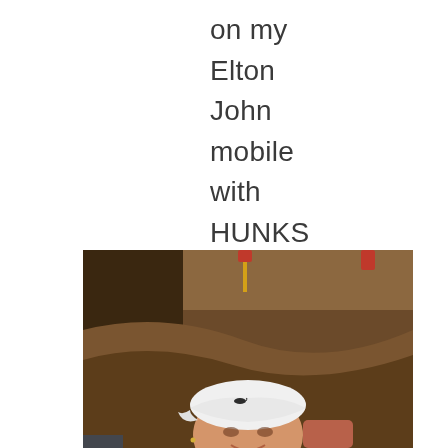on my Elton John mobile with HUNKS of missing hair.
[Figure (photo): A person wearing a white baseball cap with a small logo, smiling, photographed indoors. Background shows warm brown tones with red pendant lights hanging from the ceiling.]